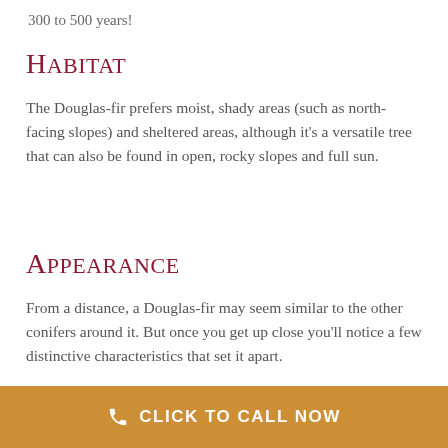300 to 500 years!
Habitat
The Douglas-fir prefers moist, shady areas (such as north-facing slopes) and sheltered areas, although it's a versatile tree that can also be found in open, rocky slopes and full sun.
Appearance
From a distance, a Douglas-fir may seem similar to the other conifers around it. But once you get up close you'll notice a few distinctive characteristics that set it apart.
CLICK TO CALL NOW